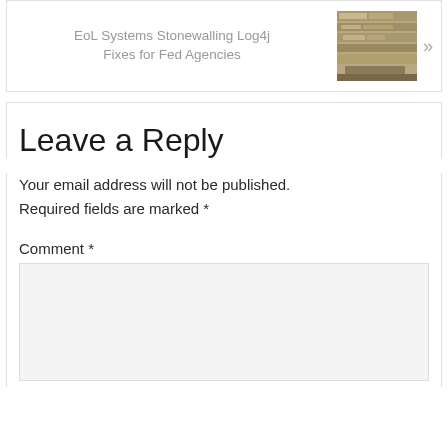EoL Systems Stonewalling Log4j Fixes for Fed Agencies
Leave a Reply
Your email address will not be published. Required fields are marked *
Comment *